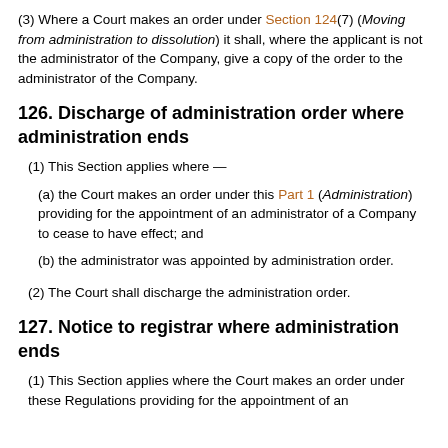(3) Where a Court makes an order under Section 124(7) (Moving from administration to dissolution) it shall, where the applicant is not the administrator of the Company, give a copy of the order to the administrator of the Company.
126. Discharge of administration order where administration ends
(1) This Section applies where —
(a) the Court makes an order under this Part 1 (Administration) providing for the appointment of an administrator of a Company to cease to have effect; and
(b) the administrator was appointed by administration order.
(2) The Court shall discharge the administration order.
127. Notice to registrar where administration ends
(1) This Section applies where the Court makes an order under these Regulations providing for the appointment of an